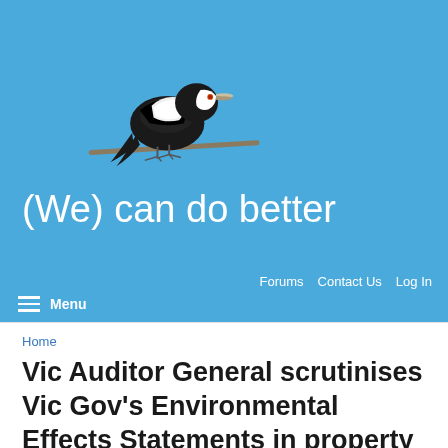[Figure (photo): Australian magpie bird perched on a branch against a blue sky background]
(We) can do better
Forums  Contact Us  Log In
Menu
Home
Vic Auditor General scrutinises Vic Gov's Environmental Effects Statements in property development